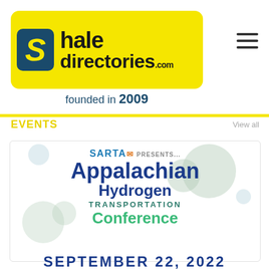[Figure (logo): ShaleDirectories.com logo on yellow background with blue S icon, founded in 2009]
Events
View all
[Figure (illustration): SARTA Presents Appalachian Hydrogen Transportation Conference event poster with molecule background graphics]
SEPTEMBER 22, 2022